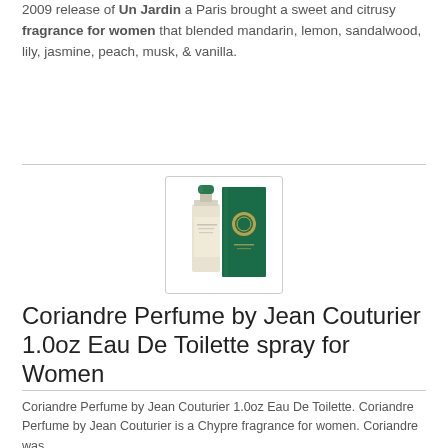2009 release of Un Jardin a Paris brought a sweet and citrusy fragrance for women that blended mandarin, lemon, sandalwood, lily, jasmine, peach, musk, & vanilla.
[Figure (photo): Product photo of Coriandre Perfume bottle (cream/beige bottle with green cap) next to its green box packaging with gold emblem]
Coriandre Perfume by Jean Couturier 1.0oz Eau De Toilette spray for Women
Coriandre Perfume by Jean Couturier 1.0oz Eau De Toilette. Coriandre Perfume by Jean Couturier is a Chypre fragrance for women. Coriandre was...